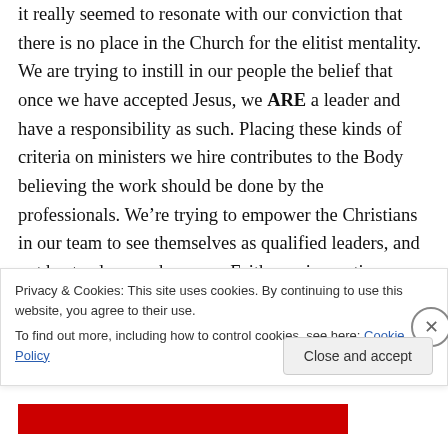it really seemed to resonate with our conviction that there is no place in the Church for the elitist mentality. We are trying to instill in our people the belief that once we have accepted Jesus, we ARE a leader and have a responsibility as such. Placing these kinds of criteria on ministers we hire contributes to the Body believing the work should be done by the professionals. We're trying to empower the Christians in our team to see themselves as qualified leaders, and not bystanders or observers. Faith requires action,
Privacy & Cookies: This site uses cookies. By continuing to use this website, you agree to their use.
To find out more, including how to control cookies, see here: Cookie Policy